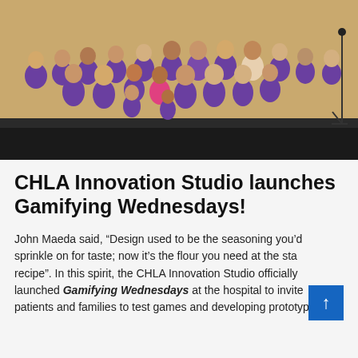[Figure (photo): Group photo of approximately 20 young people wearing purple polo shirts standing together in a room, likely at Children's Hospital Los Angeles (CHLA). A microphone stand is visible on the right.]
CHLA Innovation Studio launches Gamifying Wednesdays!
John Maeda said, “Design used to be the seasoning you’d sprinkle on for taste; now it’s the flour you need at the start of the recipe”. In this spirit, the CHLA Innovation Studio officially launched Gamifying Wednesdays at the hospital to invite patients and families to test games and developing prototypes